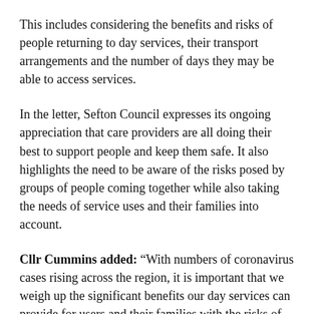This includes considering the benefits and risks of people returning to day services, their transport arrangements and the number of days they may be able to access services.
In the letter, Sefton Council expresses its ongoing appreciation that care providers are all doing their best to support people and keep them safe. It also highlights the need to be aware of the risks posed by groups of people coming together while also taking the needs of service uses and their families into account.
Cllr Cummins added: “With numbers of coronavirus cases rising across the region, it is important that we weigh up the significant benefits our day services can provide for users and their families with the risks of groups of them coming together to use them.
“We are working closely with our colleagues across the City Region to ensure we are taking a coordinated and